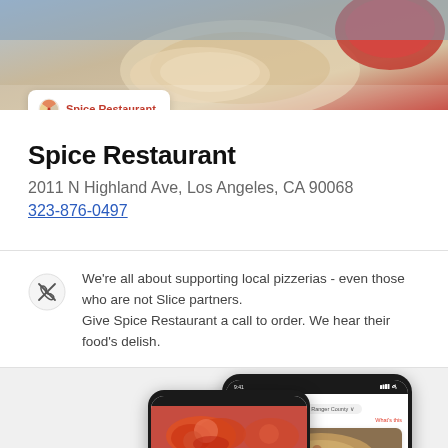[Figure (photo): Hero food photo showing pizza dough and ingredients with blurred background. Logo card overlay showing 'Spice Restaurant' with pizza icon.]
Spice Restaurant
2011 N Highland Ave, Los Angeles, CA 90068
323-876-0497
We're all about supporting local pizzerias - even those who are not Slice partners. Give Spice Restaurant a call to order. We hear their food's delish.
[Figure (screenshot): Two smartphone mockups showing a food ordering app interface. Front phone shows a pizza restaurant list with 'Spinnable Pizza' listing. Back phone shows a restaurant page for 'Mimi's Pizza & Restaurant' with food photos.]